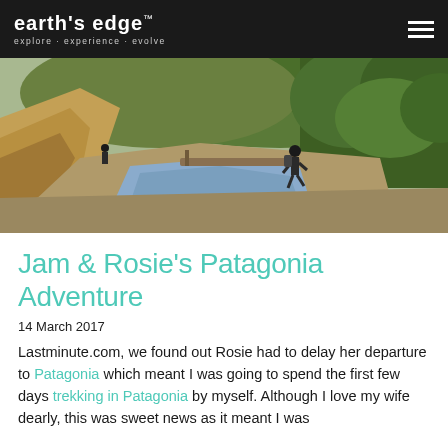EARTH'S EDGE™ explore · experience · evolve
[Figure (photo): Hiker with backpack crossing a wooden footbridge over a rocky river gorge, surrounded by green trees and golden rocky cliffs in Patagonia.]
Jam & Rosie's Patagonia Adventure
14 March 2017
Lastminute.com, we found out Rosie had to delay her departure to Patagonia which meant I was going to spend the first few days trekking in Patagonia by myself. Although I love my wife dearly, this was sweet news as it meant I was...